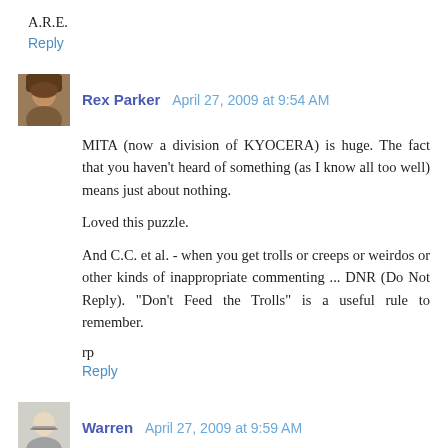A.R.E.
Reply
Rex Parker   April 27, 2009 at 9:54 AM
MITA (now a division of KYOCERA) is huge. The fact that you haven't heard of something (as I know all too well) means just about nothing.

Loved this puzzle.

And C.C. et al. - when you get trolls or creeps or weirdos or other kinds of inappropriate commenting ... DNR (Do Not Reply). "Don't Feed the Trolls" is a useful rule to remember.
rp
Reply
Warren   April 27, 2009 at 9:59 AM